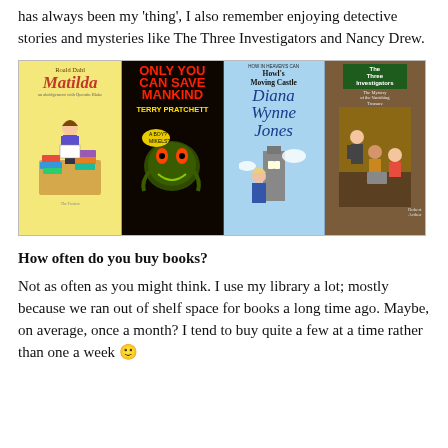has always been my 'thing', I also remember enjoying detective stories and mysteries like The Three Investigators and Nancy Drew.
[Figure (photo): Four book covers side by side: Roald Dahl's Matilda (yellow cover with girl reading), Only You Can Save Mankind by Terry Pratchett (dark cover with monster), Howl's Moving Castle by Diana Wynne Jones (blue sky cover), and The Three Investigators (boys examining something).]
How often do you buy books?
Not as often as you might think. I use my library a lot; mostly because we ran out of shelf space for books a long time ago. Maybe, on average, once a month? I tend to buy quite a few at a time rather than one a week 🙂